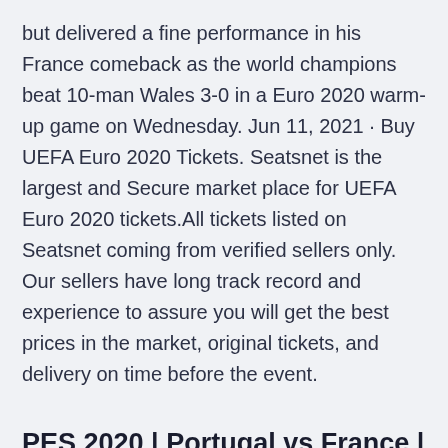but delivered a fine performance in his France comeback as the world champions beat 10-man Wales 3-0 in a Euro 2020 warm-up game on Wednesday. Jun 11, 2021 · Buy UEFA Euro 2020 Tickets. Seatsnet is the largest and Secure market place for UEFA Euro 2020 tickets.All tickets listed on Seatsnet coming from verified sellers only. Our sellers have long track record and experience to assure you will get the best prices in the market, original tickets, and delivery on time before the event.
PES 2020 | Portugal vs France | EURO 2020 Final | Fantastic Match | C.Ronaldo vs Mbappe | GameplayPC, 22,256 views22K